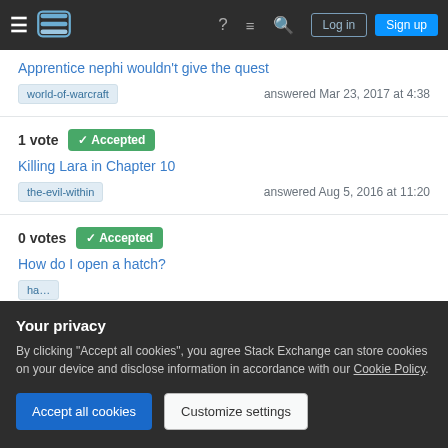Navigation bar with hamburger menu, Stack Exchange logo, help, chat, search icons, Log in and Sign up buttons
Apprentice nephi wouldn't give the quest
world-of-warcraft   answered Mar 23, 2017 at 4:38
1 vote  Accepted
Killing Lara in Chapter 10
the-evil-within   answered Aug 5, 2016 at 11:20
0 votes  Accepted
How do I open a hatch?
Your privacy
By clicking "Accept all cookies", you agree Stack Exchange can store cookies on your device and disclose information in accordance with our Cookie Policy.
Accept all cookies
Customize settings